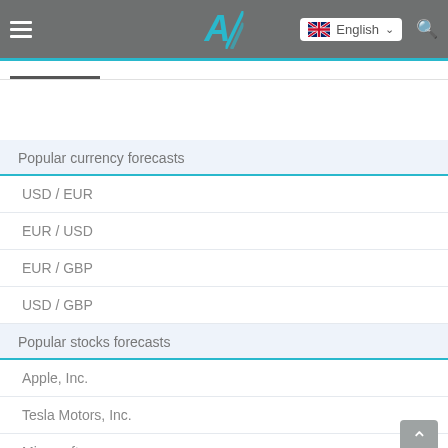Navigation header with hamburger menu, logo, English language selector, and search icon
Popular currency forecasts
USD / EUR
EUR / USD
EUR / GBP
USD / GBP
Popular stocks forecasts
Apple, Inc.
Tesla Motors, Inc.
Microsoft
Facebook, Inc.